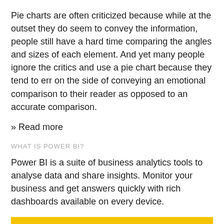Pie charts are often criticized because while at the outset they do seem to convey the information, people still have a hard time comparing the angles and sizes of each element. And yet many people ignore the critics and use a pie chart because they tend to err on the side of conveying an emotional comparison to their reader as opposed to an accurate comparison.
» Read more
WHAT IS POWER BI?
Power BI is a suite of business analytics tools to analyse data and share insights. Monitor your business and get answers quickly with rich dashboards available on every device.
READ MORE
GET THE LATEST NEWS FROM POWER BI BLOG